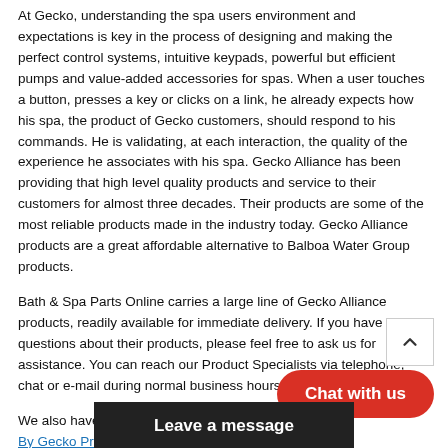At Gecko, understanding the spa users environment and expectations is key in the process of designing and making the perfect control systems, intuitive keypads, powerful but efficient pumps and value-added accessories for spas. When a user touches a button, presses a key or clicks on a link, he already expects how his spa, the product of Gecko customers, should respond to his commands. He is validating, at each interaction, the quality of the experience he associates with his spa. Gecko Alliance has been providing that high level quality products and service to their customers for almost three decades. Their products are some of the most reliable products made in the industry today. Gecko Alliance products are a great affordable alternative to Balboa Water Group products.
Bath & Spa Parts Online carries a large line of Gecko Alliance products, readily available for immediate delivery. If you have any questions about their products, please feel free to ask us for assistance. You can reach our Product Specialists via telephone, chat or e-mail during normal business hours.
We also have a comprehensive database of GeckoFlo By Gecko Product Product Manuals and Instru...
[Figure (screenshot): Chat widget overlay with a red pill-shaped 'Chat with us' button and a dark 'Leave a message' bar at the bottom. A scroll-to-top arrow button is also visible.]